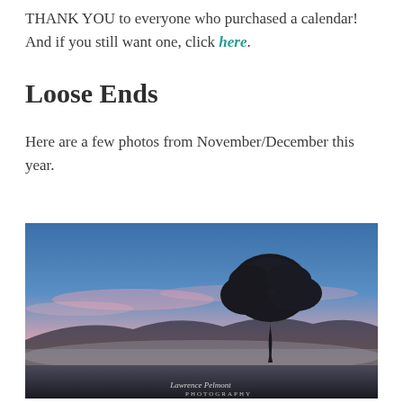THANK YOU to everyone who purchased a calendar! And if you still want one, click here.
Loose Ends
Here are a few photos from November/December this year.
[Figure (photo): Landscape photograph of a lone tree silhouetted against a vivid sunset/sunrise sky with gradient colors from deep blue at top through pink and orange near the horizon, with misty mountains in the background and fog at ground level. A watermark reading 'Lawrence Pelmont Photography' is visible in the lower right corner.]